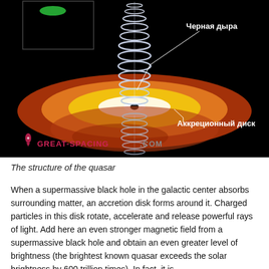[Figure (illustration): Scientific illustration of a quasar structure on black background. Shows a central black hole with a helical/coiled jet extending vertically above and below, surrounded by a glowing accretion disk in orange, yellow, and white colors. Russian labels with leader lines point to 'Черная дыра' (Black hole) at top right and 'Аккреционный диск' (Accretion disk) at bottom right. Watermark reads 'GREAT-SPACING.COM' in red/pink at bottom left with a rocket icon.]
The structure of the quasar
When a supermassive black hole in the galactic center absorbs surrounding matter, an accretion disk forms around it. Charged particles in this disk rotate, accelerate and release powerful rays of light. Add here an even stronger magnetic field from a supermassive black hole and obtain an even greater level of brightness (the brightest known quasar exceeds the solar brightness by 600 trillion times). In fact, it is